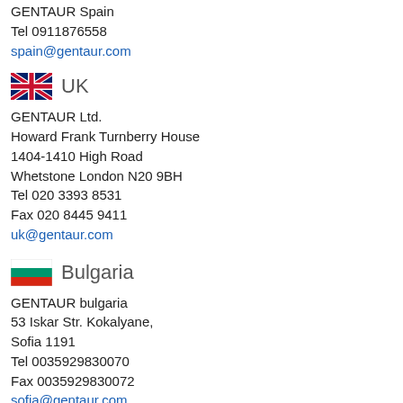GENTAUR Spain
Tel 0911876558
spain@gentaur.com
UK
GENTAUR Ltd.
Howard Frank Turnberry House
1404-1410 High Road
Whetstone London N20 9BH
Tel 020 3393 8531
Fax 020 8445 9411
uk@gentaur.com
Bulgaria
GENTAUR bulgaria
53 Iskar Str. Kokalyane,
Sofia 1191
Tel 0035929830070
Fax 0035929830072
sofia@gentaur.com